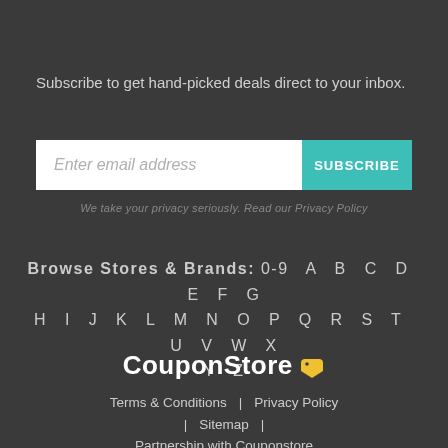Subscribe to get hand-picked deals direct to your inbox.
[Figure (other): Email subscription form with text input field labelled 'Enter email address' and a teal SUBSCRIBE button]
We take your privacy seriously. Read our Privacy Policy
Browse Stores & Brands: 0-9  A  B  C  D  E  F  G  H  I  J  K  L  M  N  O  P  Q  R  S  T  U  V  W  X  Y  Z
[Figure (logo): CouponStore logo with yellow price tag icon]
Terms & Conditions  |  Privacy Policy  |  Sitemap  |  Partnership with Couponstore